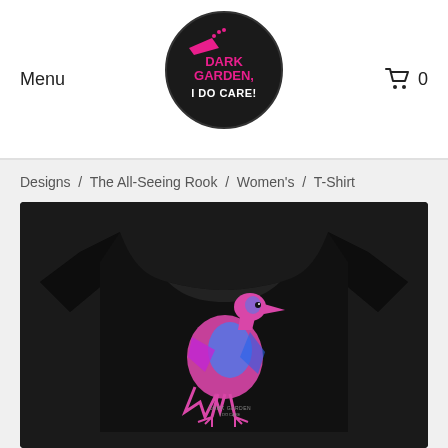Menu  [logo: Dark Garden I Do Care!]  🛒 0
Designs  /  The All-Seeing Rook  /  Women's  /  T-Shirt
[Figure (photo): Black women's t-shirt with a pink and blue rook (crow) graphic on the front, displayed on white background product shot]